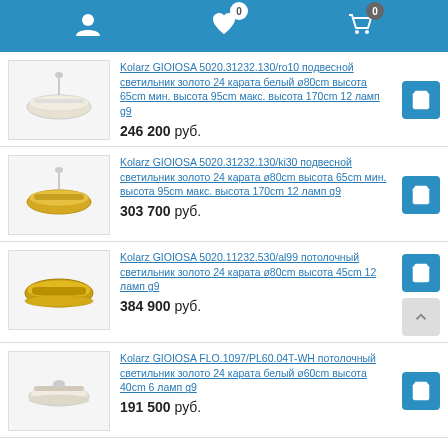Navigation header with user icon, wishlist (0), and cart (0)
Kolarz GIOIOSA 5020.31232.130/ro10 подвесной светильник золото 24 карата белый ø80cm высота 65cm мин. высота 95cm макс. высота 170cm 12 ламп g9
246 200 руб.
Kolarz GIOIOSA 5020.31232.130/ki30 подвесной светильник золото 24 карата ø80cm высота 65cm мин. высота 95cm макс. высота 170cm 12 ламп g9
303 700 руб.
Kolarz GIOIOSA 5020.11232.530/al99 потолочный светильник золото 24 карата ø80cm высота 45cm 12 ламп g9
384 900 руб.
Kolarz GIOIOSA FLO.1097/PL60.04T-WH потолочный светильник золото 24 карата белый ø60cm высота 40cm 6 ламп g9
191 500 руб.